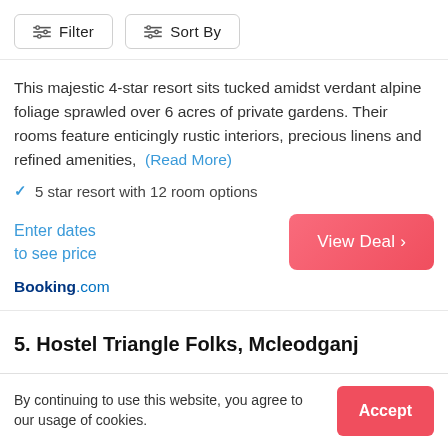Filter  Sort By
This majestic 4-star resort sits tucked amidst verdant alpine foliage sprawled over 6 acres of private gardens. Their rooms feature enticingly rustic interiors, precious linens and refined amenities,  (Read More)
✓  5 star resort with 12 room options
Enter dates
to see price
Booking.com
5. Hostel Triangle Folks, Mcleodganj
By continuing to use this website, you agree to our usage of cookies.